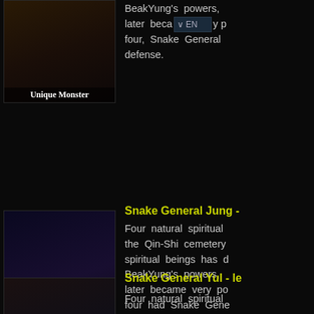[Figure (screenshot): Game character image labeled 'Unique Monster' at top left, partially visible]
BeakYung's powers, later became very powerful, four, Snake General defense.
[Figure (screenshot): Game character image labeled 'Unique Monster' - purple armored monster in kneeling pose]
Snake General Jung -
Four natural spiritual the Qin-Shi cemetery spiritual beings has d BeakYung's powers, later became very po four had Snake Gene
Snake General Yul - le
Four natural spiritual
[Figure (screenshot): Game character image labeled 'Unique Monster' partially visible at bottom]